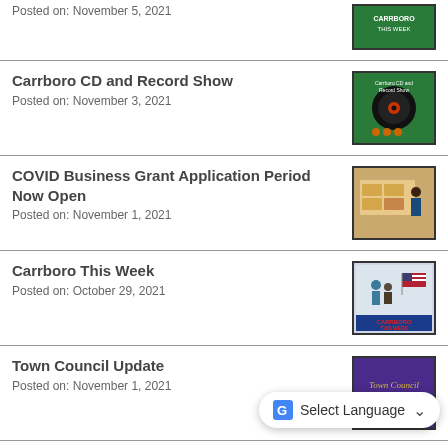Posted on: November 5, 2021
[Figure (illustration): Carrboro This Week green logo/banner]
Carrboro CD and Record Show
Posted on: November 3, 2021
[Figure (illustration): Record show poster with vinyl record graphic on green background]
COVID Business Grant Application Period Now Open
Posted on: November 1, 2021
[Figure (photo): Photo of bakery/food store interior with person]
Carrboro This Week
Posted on: October 29, 2021
[Figure (photo): Carrboro This Week banner with American flag and people]
Town Council Update
Posted on: November 1, 2021
[Figure (illustration): Town Council Live Stream purple banner]
Community Bike Ride Set for Friday
Posted on: October 26, 2021
[Figure (photo): Bike path or road photo]